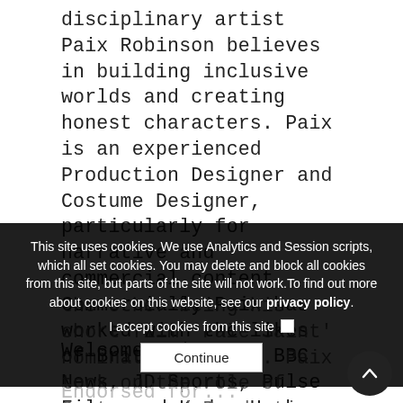disciplinary artist Paix Robinson believes in building inclusive worlds and creating honest characters. Paix is an experienced Production Designer and Costume Designer, particularly for narrative and commercial content. Commercially Paix has worked with the likes of British Vogue, BBC News, JD Sports, Pulse Films and Kode. He has had two Bafta Cymru Nominations, the other being his short film 'Pale Saint' nominated in 2020. Paix took on the role of Costume and Production Designer for both films.
This site uses cookies. We use Analytics and Session scripts, which all set cookies. You may delete and block all cookies from this site, but parts of the site will not work.To find out more about cookies on this website, see our privacy policy.
I accept cookies from this site
Continue
Welcome Paix!
Endorsed for...